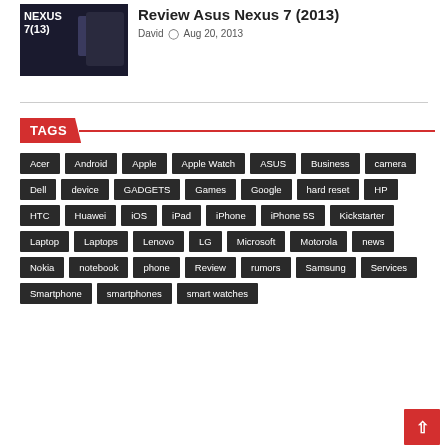Review Asus Nexus 7 (2013)
David  Aug 20, 2013
TAGS
Acer
Android
Apple
Apple Watch
ASUS
Business
camera
Dell
device
GADGETS
Games
Google
hard reset
HP
HTC
Huawei
iOS
iPad
iPhone
iPhone 5S
Kickstarter
Laptop
Laptops
Lenovo
LG
Microsoft
Motorola
news
Nokia
notebook
phone
Review
rumors
Samsung
Services
Smartphone
smartphones
smart watches